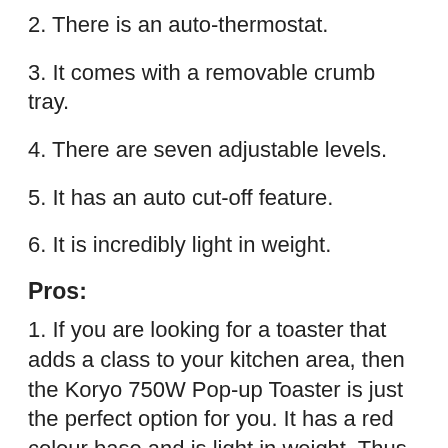2. There is an auto-thermostat.
3. It comes with a removable crumb tray.
4. There are seven adjustable levels.
5. It has an auto cut-off feature.
6. It is incredibly light in weight.
Pros:
1. If you are looking for a toaster that adds a class to your kitchen area, then the Koryo 750W Pop-up Toaster is just the perfect option for you. It has a red colour base and is light in weight. Thus, you can travel with it.